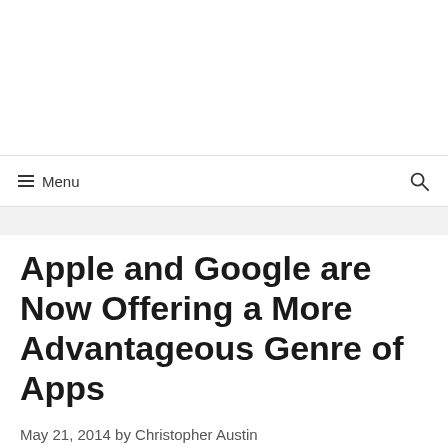≡ Menu
Apple and Google are Now Offering a More Advantageous Genre of Apps
May 21, 2014 by Christopher Austin